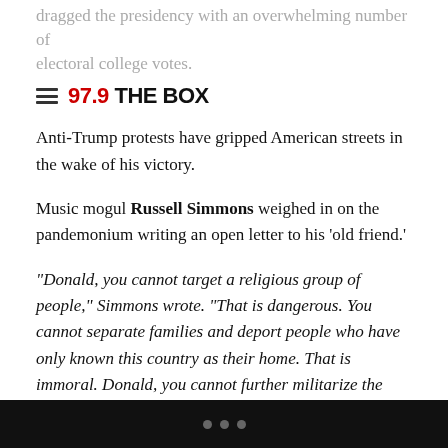dragged the presidency with an overwhelming number of electoral college votes.
97.9 THE BOX
Anti-Trump protests have gripped American streets in the wake of his victory.
Music mogul Russell Simmons weighed in on the pandemonium writing an open letter to his ‘old friend.’
“Donald, you cannot target a religious group of people,” Simmons wrote. “That is dangerous. You cannot separate families and deport people who have only known this country as their home. That is immoral. Donald, you cannot further militarize the police and empower them to antagonize and terrorize black communities.”
This isn’t the first time Simmons has tried to advise his former
• • •